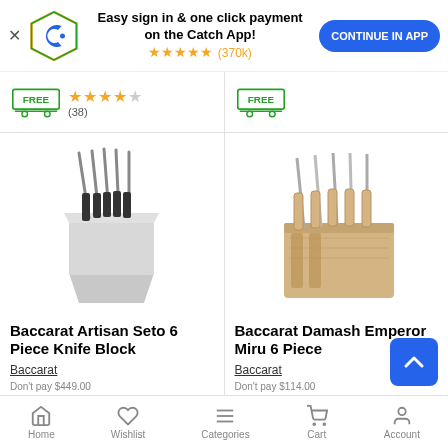[Figure (screenshot): App install banner with Catch logo, star rating (370k reviews), and Continue in App button]
[Figure (photo): Partial product cards showing free delivery badge and star ratings (38 reviews)]
[Figure (photo): Baccarat Artisan Seto 6 Piece Knife Block product image - silver/steel knife block]
Baccarat Artisan Seto 6 Piece Knife Block
Baccarat
Don't pay $449.00
[Figure (photo): Baccarat Damash Emperor Miru 6 Piece knife set in wooden block]
Baccarat Damash Emperor Miru 6 Piece
Baccarat
Don't pay $114.00
Home  Wishlist  Categories  Cart  Account